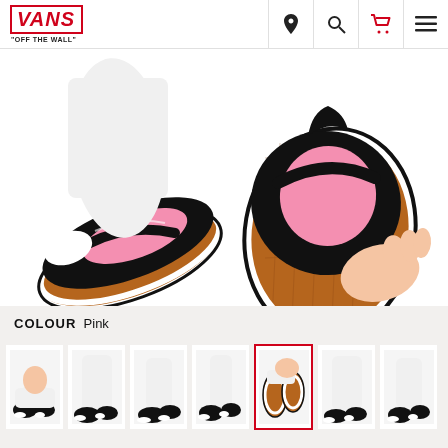[Figure (logo): Vans logo — red italic VANS in red border box, with 'OFF THE WALL' tagline below]
[Figure (photo): Child wearing black and pink Vans Old Skool sneakers, shown from above with the soles of shoes visible]
COLOUR  Pink
[Figure (photo): Thumbnail strip of 7 product photos of child wearing Vans sneakers, 5th thumbnail selected with red border]